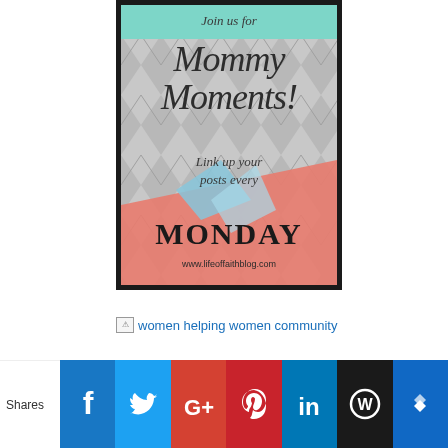[Figure (illustration): Promotional graphic for 'Mommy Moments' blog link-up. Chevron gray background with teal top strip and coral bottom section. Text reads: 'Join us for Mommy Moments! Link up your posts every Monday' with URL www.lifeoffaithblog.com at bottom.]
women helping women community
[Figure (infographic): Social sharing bar with icons for Facebook, Twitter, Google+, Pinterest, LinkedIn, WordPress, and Stumbleupon. 'Shares' label on left.]